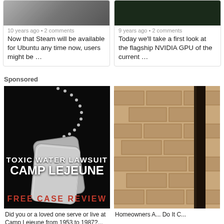[Figure (screenshot): Article card with image thumbnail, showing '10 years ago • 2 comments'. Title: Now that Steam will be available for Ubuntu any time now, users might be …]
[Figure (screenshot): Article card with dark image thumbnail, showing '9 years ago • 2 comments'. Title: Today we'll take a first look at the flagship NVIDIA GPU of the current …]
Sponsored
[Figure (photo): Ad image for Camp Lejeune toxic water lawsuit featuring military dog tags on black background with text: TOXIC WATER LAWSUIT, CAMP LEJEUNE, FREE CASE REVIEW]
Did you or a loved one serve or live at Camp Lejeune from 1953 to 1987?...
[Figure (photo): Ad image showing brick wall background, partially cut off on the right side]
Homeowners A... Do It C...